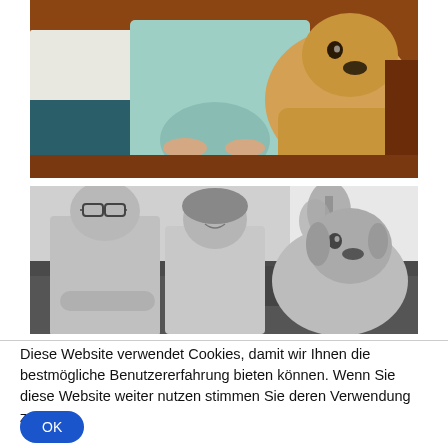[Figure (photo): Color photo of a pregnant woman in a mint green dress and a man in a white shirt sitting on a brown leather couch with a yellow Labrador retriever dog resting on the couch beside them.]
[Figure (photo): Black and white photo of a man with glasses and a woman sitting on a dark couch with a Labrador retriever dog beside them, with a plant and window in the background.]
Diese Website verwendet Cookies, damit wir Ihnen die bestmögliche Benutzererfahrung bieten können. Wenn Sie diese Website weiter nutzen stimmen Sie deren Verwendung zu.
OK